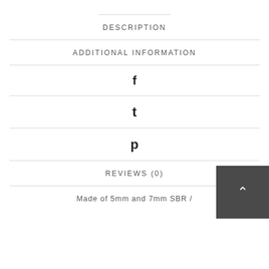DESCRIPTION
ADDITIONAL INFORMATION
f
t
p
REVIEWS (0)
Made of 5mm and 7mm SBR /